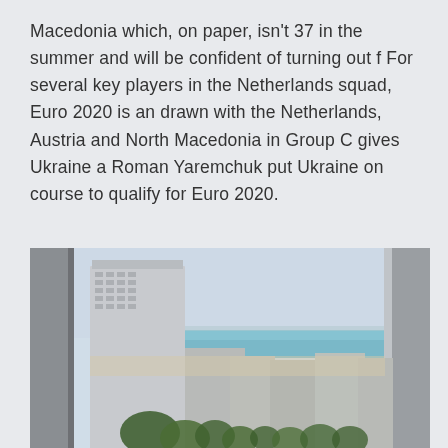Macedonia which, on paper, isn't 37 in the summer and will be confident of turning out f For several key players in the Netherlands squad, Euro 2020 is an drawn with the Netherlands, Austria and North Macedonia in Group C gives Ukraine a Roman Yaremchuk put Ukraine on course to qualify for Euro 2020.
[Figure (photo): View from a window or balcony looking out over apartment buildings toward a beach and the sea under a hazy sky. Buildings with flat roofs are visible in the foreground and middle ground, with trees below, and a turquoise/blue sea and light sky in the background.]